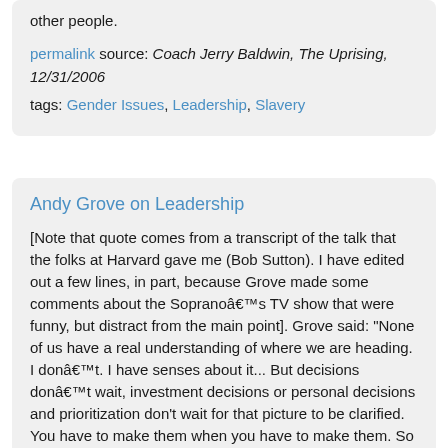other people.
permalink source: Coach Jerry Baldwin, The Uprising, 12/31/2006
tags: Gender Issues, Leadership, Slavery
Andy Grove on Leadership
[Note that quote comes from a transcript of the talk that the folks at Harvard gave me (Bob Sutton). I have edited out a few lines, in part, because Grove made some comments about the Sopranoâ€™s TV show that were funny, but distract from the main point]. Grove said: "None of us have a real understanding of where we are heading. I donâ€™t. I have senses about it... But decisions donâ€™t wait, investment decisions or personal decisions and prioritization don't wait for that picture to be clarified. You have to make them when you have to make them. So you take your shots and clean up the bad ones later. And